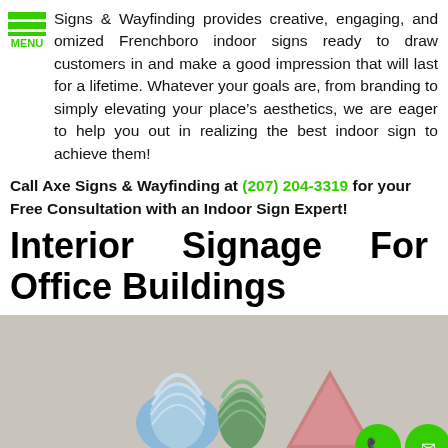MENU
Signs & Wayfinding provides creative, engaging, and customized Frenchboro indoor signs ready to draw customers in and make a good impression that will last for a lifetime. Whatever your goals are, from branding to simply elevating your place's aesthetics, we are eager to help you out in realizing the best indoor sign to achieve them!
Call Axe Signs & Wayfinding at (207) 204-3319 for your Free Consultation with an Indoor Sign Expert!
Interior Signage For Office Buildings
[Figure (photo): Photo of three 3D decorative sign shapes (blue teardrop, green teardrop, pink/red triangle) on a gray background, with two green circular floating buttons (phone and email icons) in the lower right.]